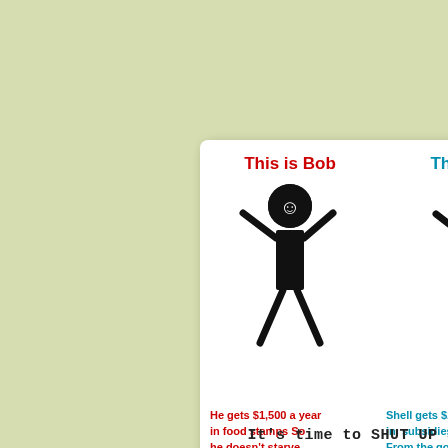[Figure (illustration): Infographic card showing two stick figures: 'This is Bob' (a person getting $1,500/year in food stamps) on the left, and 'This is Shell' (Shell Oil company getting $2 Billion in subsidies a year) on the right, with a message at the bottom: 'It's time to SHUT UP about Bob']
This is Bob
He gets $1,500 a year in food stamps So he doesn't starve.
This is Shell
Shell gets $2 Billion in subsidies a year From the government for no real reason
It's time to SHUT UP about Bob